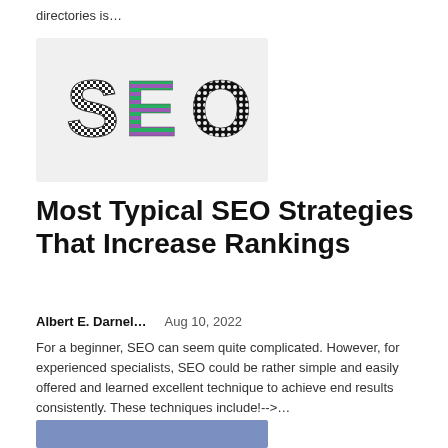directories is…
[Figure (photo): Photo of decorative SEO letters made from beaded/patterned material on a light background. S is black and white checkered, E is purple and green striped, O is black and white dotted.]
Most Typical SEO Strategies That Increase Rankings
Albert E. Darnel…   Aug 10, 2022
For a beginner, SEO can seem quite complicated. However, for experienced specialists, SEO could be rather simple and easily offered and learned excellent technique to achieve end results consistently. These techniques include!-->…
[Figure (photo): Partially visible article thumbnail image with blue/slate background at bottom of page.]